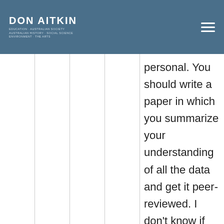DON AITKIN
personal. You should write a paper in which you summarize your understanding of all the data and get it peer-reviewed. I don't know if there's anyone else out there who...